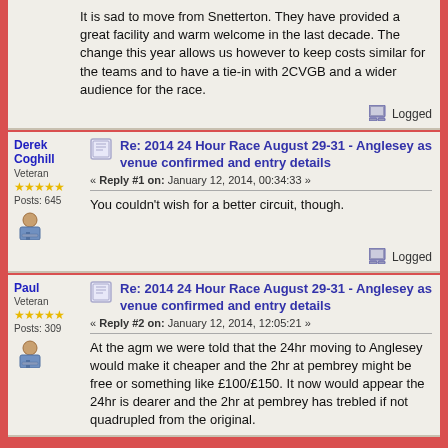It is sad to move from Snetterton. They have provided a great facility and warm welcome in the last decade. The change this year allows us however to keep costs similar for the teams and to have a tie-in with 2CVGB and a wider audience for the race.
Logged
Derek Coghill
Veteran
Posts: 645
Re: 2014 24 Hour Race August 29-31 - Anglesey as venue confirmed and entry details
« Reply #1 on: January 12, 2014, 00:34:33 »
You couldn't wish for a better circuit, though.
Logged
Paul
Veteran
Posts: 309
Re: 2014 24 Hour Race August 29-31 - Anglesey as venue confirmed and entry details
« Reply #2 on: January 12, 2014, 12:05:21 »
At the agm we were told that the 24hr moving to Anglesey would make it cheaper and the 2hr at pembrey might be free or something like £100/£150. It now would appear the 24hr is dearer and the 2hr at pembrey has trebled if not quadrupled from the original.